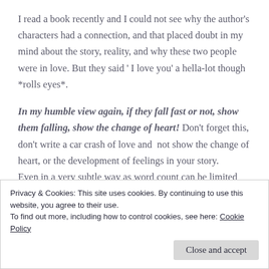I read a book recently and I could not see why the author's characters had a connection, and that placed doubt in my mind about the story, reality, and why these two people were in love. But they said ' I love you' a hella-lot though *rolls eyes*.
In my humble view again, if they fall fast or not, show them falling, show the change of heart! Don't forget this, don't write a car crash of love and not show the change of heart, or the development of feelings in your story. Even in a very subtle way as word count can be limited
Privacy & Cookies: This site uses cookies. By continuing to use this website, you agree to their use. To find out more, including how to control cookies, see here: Cookie Policy